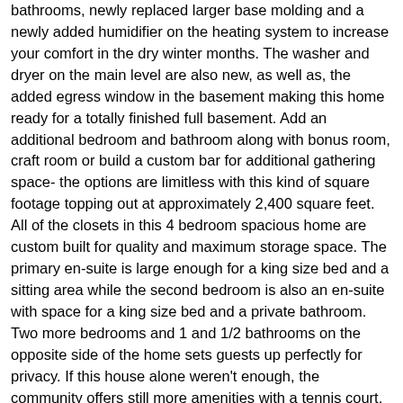bathrooms, newly replaced larger base molding and a newly added humidifier on the heating system to increase your comfort in the dry winter months. The washer and dryer on the main level are also new, as well as, the added egress window in the basement making this home ready for a totally finished full basement. Add an additional bedroom and bathroom along with bonus room, craft room or build a custom bar for additional gathering space- the options are limitless with this kind of square footage topping out at approximately 2,400 square feet. All of the closets in this 4 bedroom spacious home are custom built for quality and maximum storage space. The primary en-suite is large enough for a king size bed and a sitting area while the second bedroom is also an en-suite with space for a king size bed and a private bathroom. Two more bedrooms and 1 and 1/2 bathrooms on the opposite side of the home sets guests up perfectly for privacy. If this house alone weren't enough, the community offers still more amenities with a tennis court, fitness room, tot-lot/playground and huge community center for activities and to socialize with neighbors. This home is available for showings on Saturdays from 11:00-2:30 due to weekly rentals. House has not been